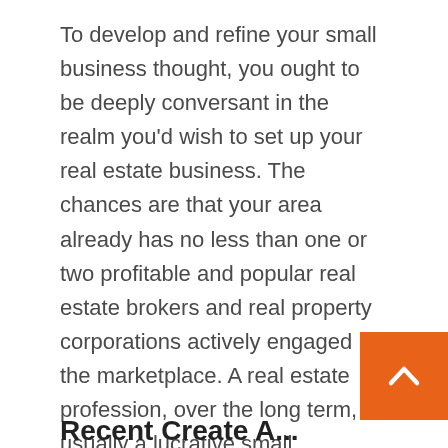To develop and refine your small business thought, you ought to be deeply conversant in the realm you'd wish to set up your real estate business. The chances are that your area already has no less than one or two profitable and popular real estate brokers and real property corporations actively engaged in the marketplace. A real estate profession, over the long term, is usually a lucrative small business. The Women, Business and the Law web site has varied sources available, including the report, economic system snapshots, current and historic knowledge, new knowledge visualizations, PowerPoint slides, and far more. We invite you to visit the web site, browse the information and assist us disseminate the report's findings.
Recent Create A...